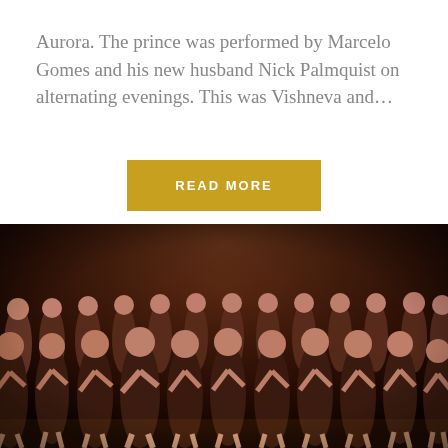Aurora. The prince was performed by Marcelo Gomes and his new husband Nick Palmquist on alternating evenings. This was Vishneva and...
READ MORE
[Figure (photo): A large group of ballet dancers in black leotards posed on a dark stage, smiling at the camera in multiple rows.]